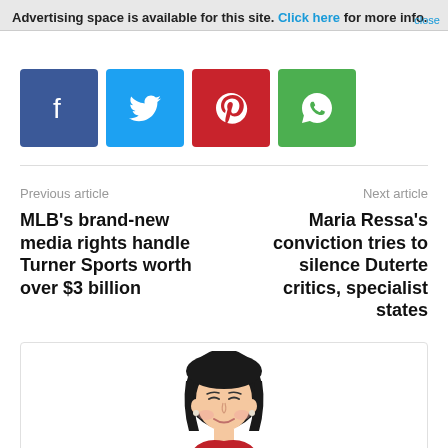Advertising space is available for this site. Click here for more info. close
[Figure (other): Social share buttons: Facebook (blue), Twitter (light blue), Pinterest (red), WhatsApp (green)]
Previous article
Next article
MLB's brand-new media rights handle Turner Sports worth over $3 billion
Maria Ressa's conviction tries to silence Duterte critics, specialist states
[Figure (illustration): Illustrated portrait of a woman with short black hair, smiling, wearing red clothing]